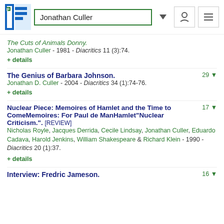Jonathan Culler
The Cuts of Animals Donny.
Jonathan Culler - 1981 - Diacritics 11 (3):74.
+ details
The Genius of Barbara Johnson. 29
Jonathan D. Culler - 2004 - Diacritics 34 (1):74-76.
+ details
Nuclear Piece: Memoires of Hamlet and the Time to ComeMemoires: For Paul de ManHamlet"Nuclear Criticism.". [REVIEW] 17
Nicholas Royle, Jacques Derrida, Cecile Lindsay, Jonathan Culler, Eduardo Cadava, Harold Jenkins, William Shakespeare & Richard Klein - 1990 - Diacritics 20 (1):37.
+ details
Interview: Fredric Jameson. 16